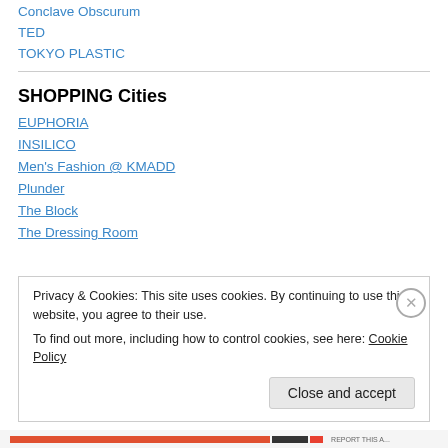Conclave Obscurum
TED
TOKYO PLASTIC
SHOPPING Cities
EUPHORIA
INSILICO
Men's Fashion @ KMADD
Plunder
The Block
The Dressing Room
Privacy & Cookies: This site uses cookies. By continuing to use this website, you agree to their use.
To find out more, including how to control cookies, see here: Cookie Policy
Close and accept